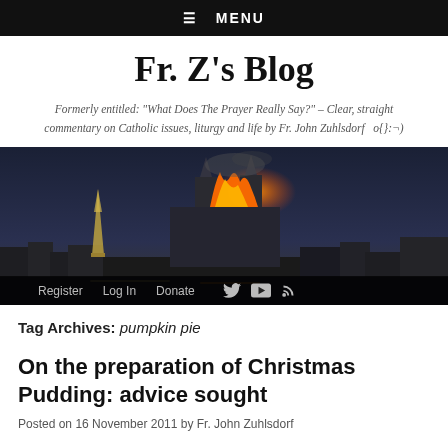☰ MENU
Fr. Z's Blog
Formerly entitled: "What Does The Prayer Really Say?" – Clear, straight commentary on Catholic issues, liturgy and life by Fr. John Zuhlsdorf   o{]:¬)
[Figure (photo): Night photo of Notre-Dame Cathedral on fire with the Eiffel Tower visible in the background, Paris skyline silhouetted against a dark blue sky with flames and smoke rising from the cathedral roof.]
Register   Log In   Donate
Tag Archives: pumpkin pie
On the preparation of Christmas Pudding: advice sought
Posted on 16 November 2011 by Fr. John Zuhlsdorf